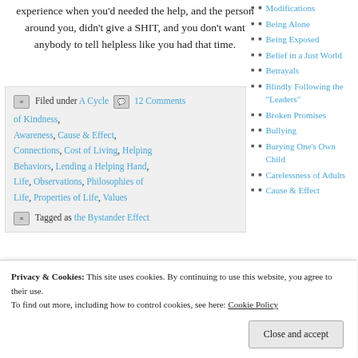experience when you'd needed the help, and the person around you, didn't give a SHIT, and you don't want anybody to tell helpless like you had that time.
Filed under A Cycle of Kindness, 12 Comments, Awareness, Cause & Effect, Connections, Cost of Living, Helping Behaviors, Lending a Helping Hand, Life, Observations, Philosophies of Life, Properties of Life, Values
Tagged as the Bystander Effect
Modifications
Being Alone
Being Exposed
Belief in a Just World
Betrayals
Blindly Following the "Leaders"
Broken Promises
Bullying
Burying One's Own Child
Carelessness of Adults
Cause & Effect
Privacy & Cookies: This site uses cookies. By continuing to use this website, you agree to their use.
To find out more, including how to control cookies, see here: Cookie Policy
Close and accept